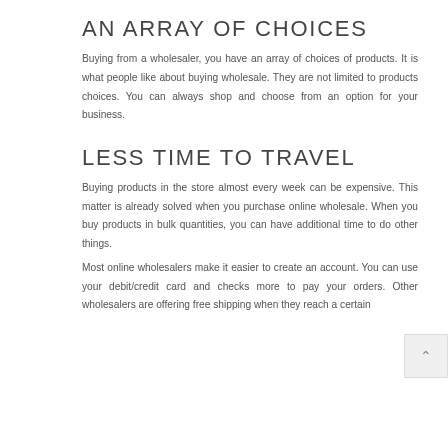AN ARRAY OF CHOICES
Buying from a wholesaler, you have an array of choices of products. It is what people like about buying wholesale. They are not limited to products choices. You can always shop and choose from an option for your business.
LESS TIME TO TRAVEL
Buying products in the store almost every week can be expensive. This matter is already solved when you purchase online wholesale. When you buy products in bulk quantities, you can have additional time to do other things.
Most online wholesalers make it easier to create an account. You can use your debit/credit card and checks more to pay your orders. Other wholesalers are offering free shipping when they reach a certain